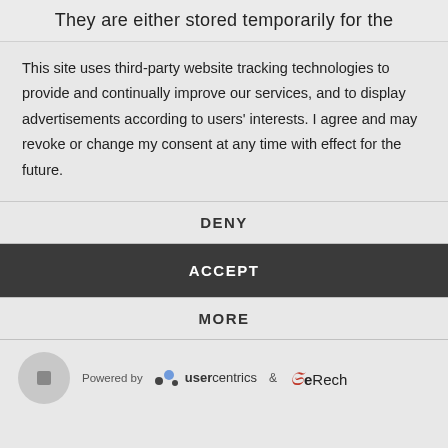They are either stored temporarily for the
This site uses third-party website tracking technologies to provide and continually improve our services, and to display advertisements according to users' interests. I agree and may revoke or change my consent at any time with effect for the future.
DENY
ACCEPT
MORE
Powered by usercentrics & eRecht24